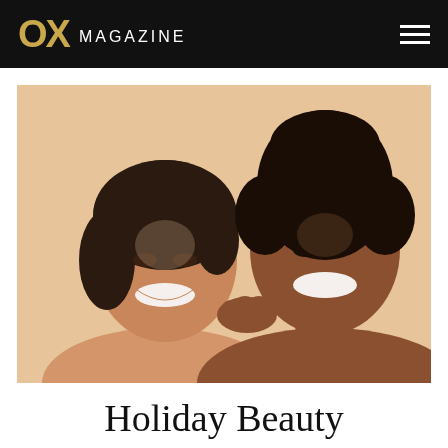OX MAGAZINE
[Figure (photo): Two smiling women posing together against a warm beige background. One woman has dark hair pulled back, the other has curly hair in an updo. Both are bare-shouldered and smiling broadly.]
Holiday Beauty